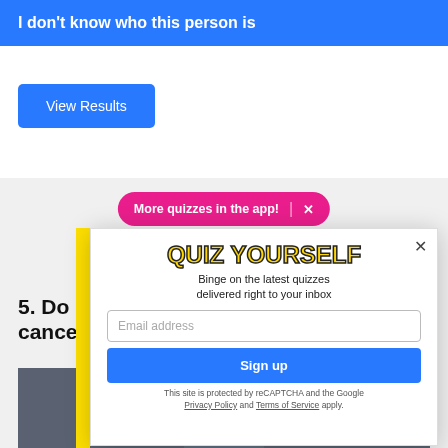I don't know who this person is
View Results
More quizzes in the app! ×
[Figure (screenshot): Background image area with partial text 'ME' and food image, Frank's branding]
5. Do
cance
[Figure (screenshot): Modal popup: QUIZ YOURSELF - Binge on the latest quizzes delivered right to your inbox. Email address input, Sign up button, reCAPTCHA notice.]
This site is protected by reCAPTCHA and the Google Privacy Policy and Terms of Service apply.